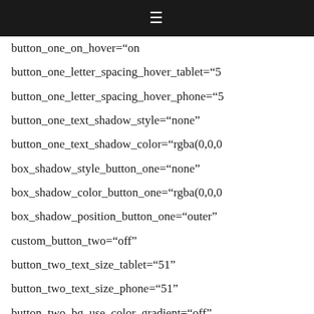≡
button_one_on_hover="on
button_one_letter_spacing_hover_tablet="5
button_one_letter_spacing_hover_phone="5
button_one_text_shadow_style="none"
button_one_text_shadow_color="rgba(0,0,0
box_shadow_style_button_one="none"
box_shadow_color_button_one="rgba(0,0,0
box_shadow_position_button_one="outer"
custom_button_two="off"
button_two_text_size_tablet="51"
button_two_text_size_phone="51"
button_two_bg_use_color_gradient="off"
button_two_bg_color_gradient_type="linear